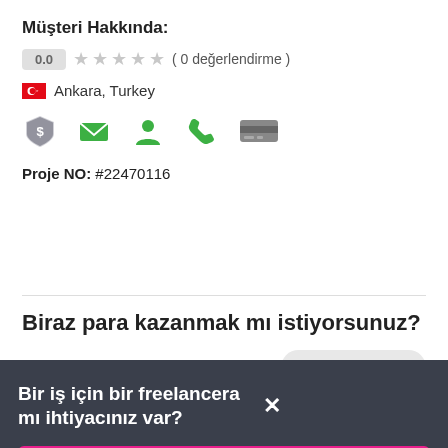Müşteri Hakkında:
0.0 ★★★★★ ( 0 değerlendirme )
🇹🇷 Ankara, Turkey
[Figure (infographic): Row of 5 green/grey icons: shield with dollar, envelope, person, phone, credit card]
Proje NO: #22470116
Biraz para kazanmak mı istiyorsunuz?
PROJE KAPALI
Bir iş için bir freelancera mı ihtiyacınız var?
Bir Proje İlan Edin